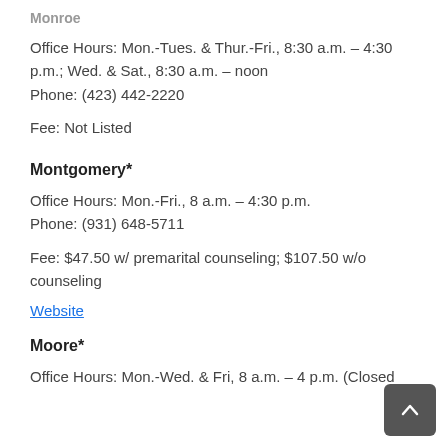Monroe
Office Hours: Mon.-Tues. & Thur.-Fri., 8:30 a.m. – 4:30 p.m.; Wed. & Sat., 8:30 a.m. – noon
Phone: (423) 442-2220
Fee: Not Listed
Montgomery*
Office Hours: Mon.-Fri., 8 a.m. – 4:30 p.m.
Phone: (931) 648-5711
Fee: $47.50 w/ premarital counseling; $107.50 w/o counseling
Website
Moore*
Office Hours: Mon.-Wed. & Fri, 8 a.m. – 4 p.m. (Closed